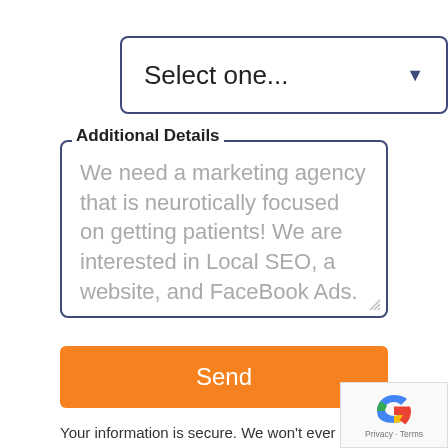[Figure (screenshot): Dropdown select input with placeholder text 'Select one...' and dark blue border]
Additional Details
We need a marketing agency that is neurotically focused on getting patients! We are interested in Local SEO, a website, and FaceBook Ads.
Send
Your information is secure. We won't ever send you spam or sell your contact details. We hate BS like that as much as you do.